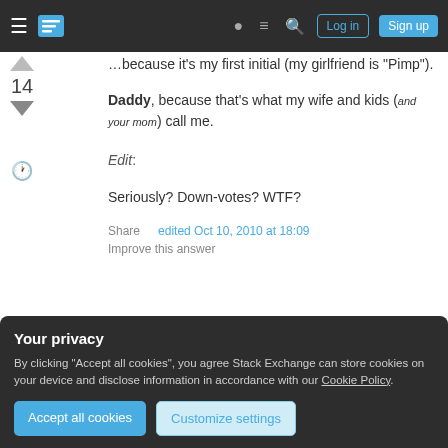Stack Exchange navigation bar with Log in and Sign up buttons
"Pimp").
Daddy, because that's what my wife and kids (and your mom) call me.
Edit:
Seriously? Down-votes? WTF?
Share   edited Oct 10, 2010 at 18:09
Improve this answer
Your privacy
By clicking "Accept all cookies", you agree Stack Exchange can store cookies on your device and disclose information in accordance with our Cookie Policy.
Accept all cookies   Customize settings